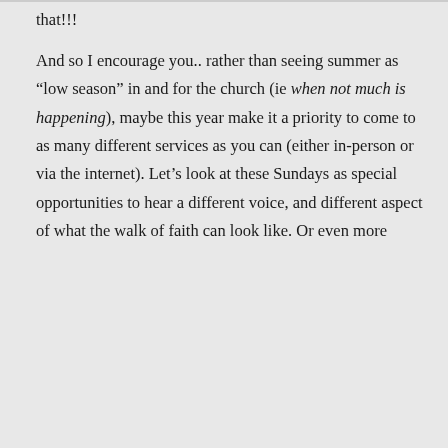that!!!
And so I encourage you.. rather than seeing summer as “low season” in and for the church (ie when not much is happening), maybe this year make it a priority to come to as many different services as you can (either in-person or via the internet). Let’s look at these Sundays as special opportunities to hear a different voice, and different aspect of what the walk of faith can look like. Or even more